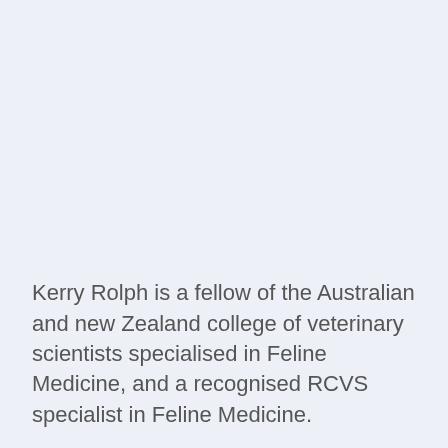Kerry Rolph is a fellow of the Australian and new Zealand college of veterinary scientists specialised in Feline Medicine, and a recognised RCVS specialist in Feline Medicine.